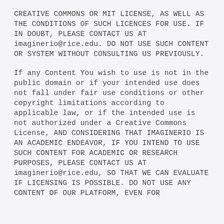CREATIVE COMMONS OR MIT LICENSE, AS WELL AS THE CONDITIONS OF SUCH LICENCES FOR USE. IF IN DOUBT, PLEASE CONTACT US AT imaginerio@rice.edu. DO NOT USE SUCH CONTENT OR SYSTEM WITHOUT CONSULTING US PREVIOUSLY.
If any Content You wish to use is not in the public domain or if your intended use does not fall under fair use conditions or other copyright limitations according to applicable law, or if the intended use is not authorized under a Creative Commons License, AND CONSIDERING THAT IMAGINERIO IS AN ACADEMIC ENDEAVOR, IF YOU INTEND TO USE SUCH CONTENT FOR ACADEMIC OR RESEARCH PURPOSES, PLEASE CONTACT US AT imaginerio@rice.edu, SO THAT WE CAN EVALUATE IF LICENSING IS POSSIBLE. DO NOT USE ANY CONTENT OF OUR PLATFORM, EVEN FOR